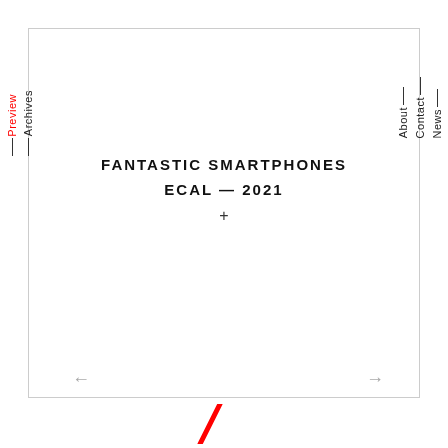Preview — Archives
FANTASTIC SMARTPHONES
ECAL — 2021
+
News — Contact — About
← →